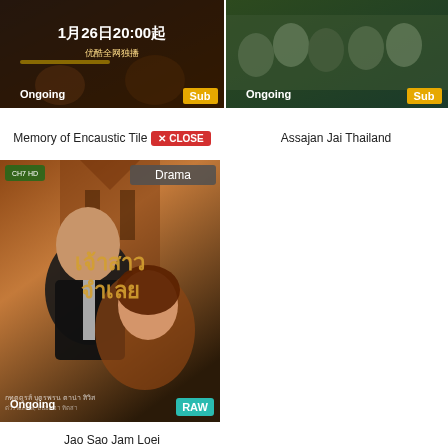[Figure (screenshot): TV drama thumbnail for Memory of Encaustic Tile showing Chinese drama poster with '1月26日20:00起' text, Ongoing badge and Sub badge]
[Figure (screenshot): TV drama thumbnail for Assajan Jai Thailand showing Thai drama cast photo, Ongoing badge and Sub badge]
Memory of Encaustic Tile × CLOSE
Assajan Jai Thailand
[Figure (screenshot): Thai drama poster for Jao Sao Jam Loei showing a couple close together, Drama badge, Ongoing badge and RAW badge]
Jao Sao Jam Loei